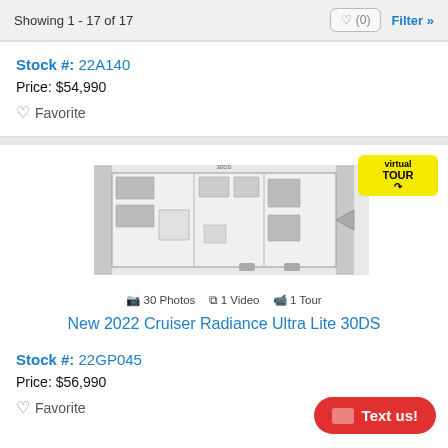Showing 1 - 17 of 17
Stock #: 22A140
Price: $54,990
Favorite
[Figure (illustration): Floor plan diagram of a travel trailer, showing interior layout from a top-down view]
30 Photos  1 Video  1 Tour
New 2022 Cruiser Radiance Ultra Lite 30DS
Stock #: 22GP045
Price: $56,990
Favorite